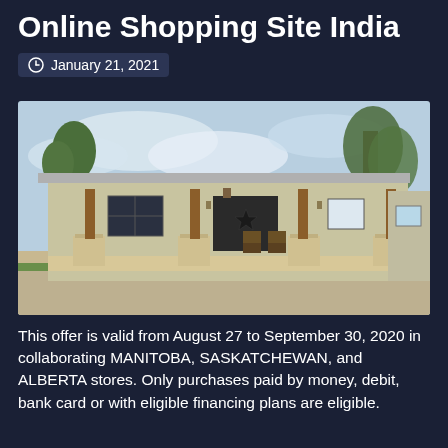Online Shopping Site India
January 21, 2021
[Figure (photo): Photograph of a ranch-style house with a covered front porch, stone pillars, wooden columns, and metal roof, with trees and gravel driveway visible]
This offer is valid from August 27 to September 30, 2020 in collaborating MANITOBA, SASKATCHEWAN, and ALBERTA stores. Only purchases paid by money, debit, bank card or with eligible financing plans are eligible.